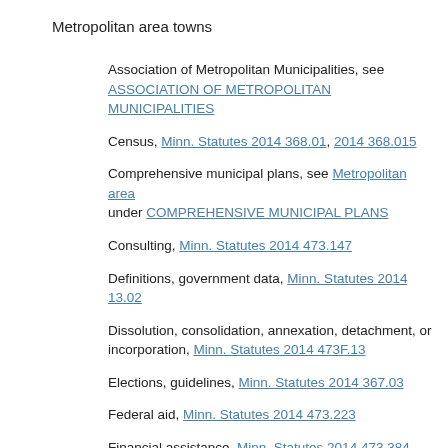Metropolitan area towns
Association of Metropolitan Municipalities, see ASSOCIATION OF METROPOLITAN MUNICIPALITIES
Census, Minn. Statutes 2014 368.01, 2014 368.015
Comprehensive municipal plans, see Metropolitan area under COMPREHENSIVE MUNICIPAL PLANS
Consulting, Minn. Statutes 2014 473.147
Definitions, government data, Minn. Statutes 2014 13.02
Dissolution, consolidation, annexation, detachment, or incorporation, Minn. Statutes 2014 473F.13
Elections, guidelines, Minn. Statutes 2014 367.03
Federal aid, Minn. Statutes 2014 473.223
Financial assistance, Minn. Statutes 2014 473.384